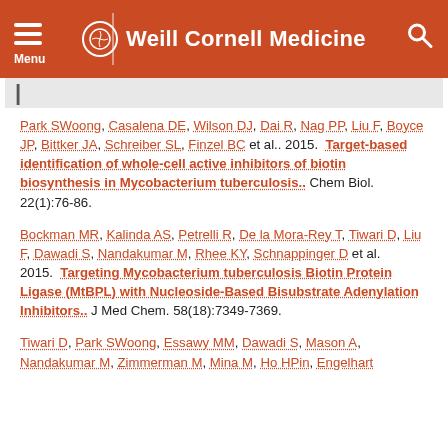Weill Cornell Medicine
Park SWoong, Casalena DE, Wilson DJ, Dai R, Nag PP, Liu F, Boyce JP, Bittker JA, Schreiber SL, Finzel BC et al.. 2015. Target-based identification of whole-cell active inhibitors of biotin biosynthesis in Mycobacterium tuberculosis.. Chem Biol. 22(1):76-86.
Bockman MR, Kalinda AS, Petrelli R, De la Mora-Rey T, Tiwari D, Liu F, Dawadi S, Nandakumar M, Rhee KY, Schnappinger D et al.. 2015. Targeting Mycobacterium tuberculosis Biotin Protein Ligase (MtBPL) with Nucleoside-Based Bisubstrate Adenylation Inhibitors.. J Med Chem. 58(18):7349-7369.
Tiwari D, Park SWoong, Essawy MM, Dawadi S, Mason A, Nandakumar M, Zimmerman M, Mina M, Ho HPin, Engelhart